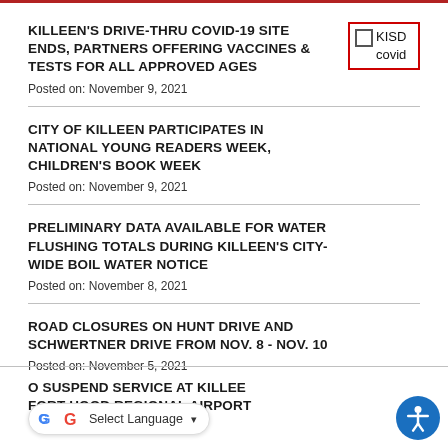KILLEEN'S DRIVE-THRU COVID-19 SITE ENDS, PARTNERS OFFERING VACCINES & TESTS FOR ALL APPROVED AGES
Posted on: November 9, 2021
CITY OF KILLEEN PARTICIPATES IN NATIONAL YOUNG READERS WEEK, CHILDREN'S BOOK WEEK
Posted on: November 9, 2021
PRELIMINARY DATA AVAILABLE FOR WATER FLUSHING TOTALS DURING KILLEEN'S CITY-WIDE BOIL WATER NOTICE
Posted on: November 8, 2021
ROAD CLOSURES ON HUNT DRIVE AND SCHWERTNER DRIVE FROM NOV. 8 - NOV. 10
Posted on: November 5, 2021
O SUSPEND SERVICE AT KILLEEN FORT HOOD REGIONAL AIRPORT
Posted on: November 4, 2021